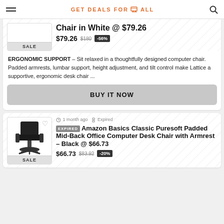GET DEALS FOR ALL
Chair in White @ $79.26
$79.26 $180 -56%
ERGONOMIC SUPPORT – Sit relaxed in a thoughtfully designed computer chair. Padded armrests, lumbar support, height adjustment, and tilt control make Lattice a supportive, ergonomic desk chair ...
BUY IT NOW
1 month ago  Expired
EXPIRED  Amazon Basics Classic Puresoft Padded Mid-Back Office Computer Desk Chair with Armrest – Black @ $66.73
$66.73 $83.92 -20%